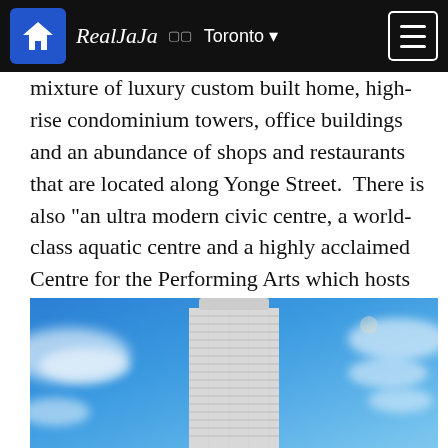RealJaJa 🌐 Toronto ▾
mixture of luxury custom built home, high-rise condominium towers, office buildings and an abundance of shops and restaurants that are located along Yonge Street.  There is also "an ultra modern civic centre, a world-class aquatic centre and a highly acclaimed Centre for the Performing Arts which hosts local and world class entertainment".
[Figure (photo): A tall high-rise condominium building with horizontal striped balconies photographed from below against a bright blue sky with white clouds]